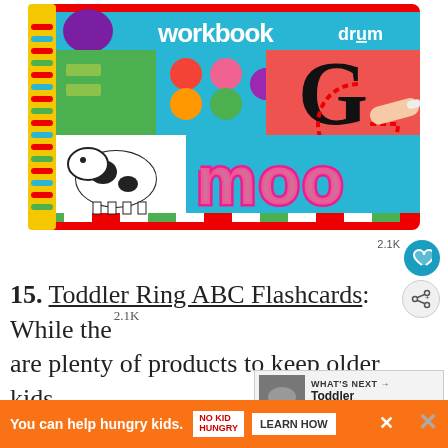[Figure (illustration): Cover of a children's spiral-bound workbook with colorful graphics: letters 'G' being traced by a child's hand, word 'moo', colorful circles, green squares, a cow illustration, spiral binding on left side, publisher logos 'workbook' and 'drum' at top.]
15. Toddler Ring ABC Flashcards: While there are plenty of products to keep older kids entertained, babies and toddlers need distractions too! These flashcards are connected by a ring so you won't lose them and...lesson
2.1K
[Figure (infographic): WHAT'S NEXT arrow label with thumbnail image and text: Toddler Packing List...]
You can help hungry kids. NO KID HUNGRY LEARN HOW